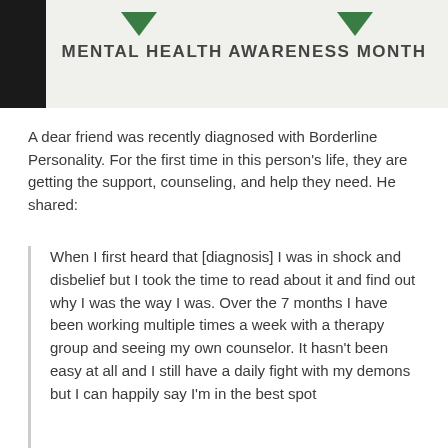MENTAL HEALTH AWARENESS MONTH
A dear friend was recently diagnosed with Borderline Personality. For the first time in this person's life, they are getting the support, counseling, and help they need. He shared:
When I first heard that [diagnosis] I was in shock and disbelief but I took the time to read about it and find out why I was the way I was. Over the 7 months I have been working multiple times a week with a therapy group and seeing my own counselor. It hasn't been easy at all and I still have a daily fight with my demons but I can happily say I'm in the best spot